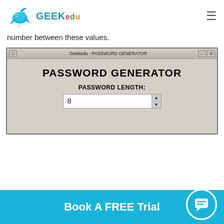GEEKedu
number between these values.
[Figure (screenshot): A Windows-style application window titled 'Geekedu - PASSWORD GENERATOR' showing a GUI with a large bold title 'PASSWORD GENERATOR', a label 'PASSWORD LENGTH:', and a spin box input showing the value 8.]
Book A FREE Trial